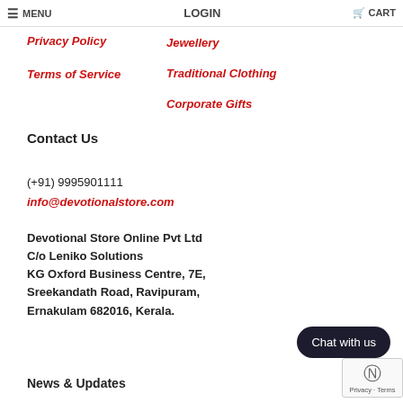MENU | LOGIN | CART
Privacy Policy
Terms of Service
Jewellery
Traditional Clothing
Corporate Gifts
Contact Us
(+91) 9995901111
info@devotionalstore.com
Devotional Store Online Pvt Ltd
C/o Leniko Solutions
KG Oxford Business Centre, 7E,
Sreekandath Road, Ravipuram,
Ernakulam 682016, Kerala.
News & Updates